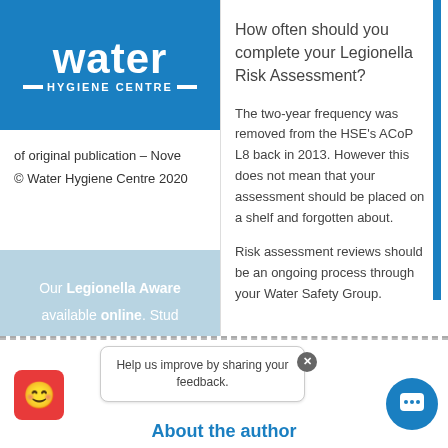[Figure (logo): Water Hygiene Centre logo — white text on blue background]
of original publication – Nove
© Water Hygiene Centre 2020
[Figure (infographic): Advertisement banner: Our Legionella Awareness course is available online. Study at your own pace and earn a certificate. Book an online course button.]
How often should you complete your Legionella Risk Assessment?
The two-year frequency was removed from the HSE's ACoP L8 back in 2013. However this does not mean that your assessment should be placed on a shelf and forgotten about.
Risk assessment reviews should be an ongoing process through your Water Safety Group.
Help us improve by sharing your feedback.
About the author